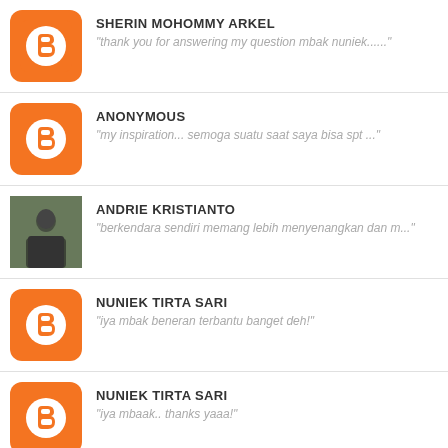SHERIN MOHOMMY ARKEL — "thank you for answering my question mbak nuniek......"
ANONYMOUS — "my inspiration... semoga suatu saat saya bisa spt ..."
ANDRIE KRISTIANTO — "berkendara sendiri memang lebih menyenangkan dan m..."
NUNIEK TIRTA SARI — "iya mbak beneran terbantu banget deh!"
NUNIEK TIRTA SARI — "iya mbaak.. thanks yaaa!"
NUNIEK TIRTA SARI — "amiinn.. makasih mbak dwina!"